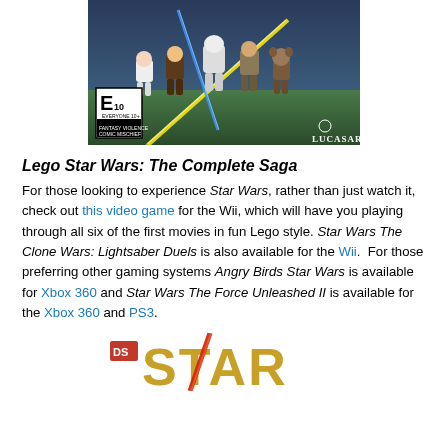[Figure (photo): Lego Star Wars: The Complete Saga video game box art showing Lego characters with ESRB E10+ rating and LucasArts logo]
Lego Star Wars: The Complete Saga
For those looking to experience Star Wars, rather than just watch it, check out this video game for the Wii, which will have you playing through all six of the first movies in fun Lego style. Star Wars The Clone Wars: Lightsaber Duels is also available for the Wii. For those preferring other gaming systems Angry Birds Star Wars is available for Xbox 360 and Star Wars The Force Unleashed II is available for the Xbox 360 and PS3.
[Figure (photo): Partial view of a Star Wars logo with golden letters and a red lightsaber, partially cut off at the bottom of the page]